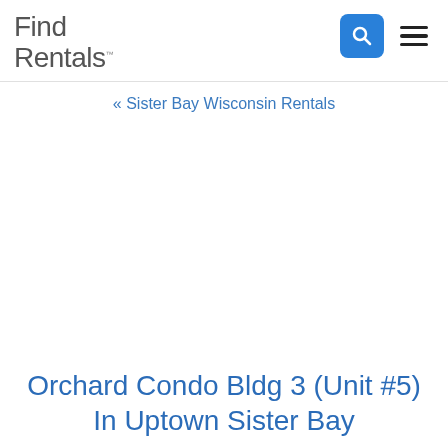Find Rentals
« Sister Bay Wisconsin Rentals
Orchard Condo Bldg 3 (Unit #5) In Uptown Sister Bay